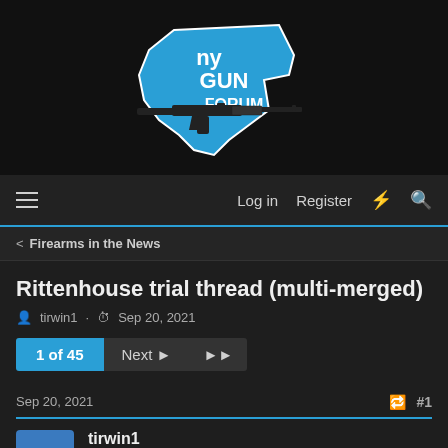[Figure (logo): NY Gun Forum logo: blue silhouette of New York State with 'NY GUN FORUM' text and an AR-style rifle graphic]
Log in  Register
< Firearms in the News
Rittenhouse trial thread (multi-merged)
tirwin1 · Sep 20, 2021
1 of 45  Next ▶  ▶▶
Sep 20, 2021  #1
tirwin1
.338 Win Mag